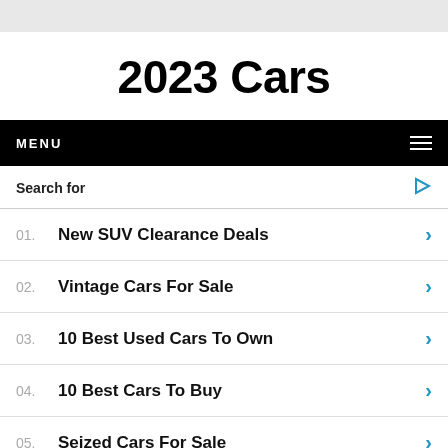2023 Cars
MENU
Search for
01. New SUV Clearance Deals
02. Vintage Cars For Sale
03. 10 Best Used Cars To Own
04. 10 Best Cars To Buy
05. Seized Cars For Sale
Yahoo! Search | Sponsored